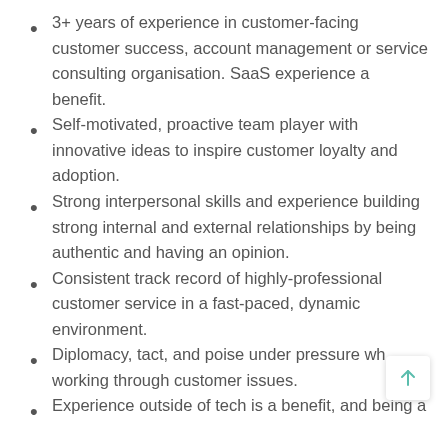3+ years of experience in customer-facing customer success, account management or service consulting organisation. SaaS experience a benefit.
Self-motivated, proactive team player with innovative ideas to inspire customer loyalty and adoption.
Strong interpersonal skills and experience building strong internal and external relationships by being authentic and having an opinion.
Consistent track record of highly-professional customer service in a fast-paced, dynamic environment.
Diplomacy, tact, and poise under pressure wh working through customer issues.
Experience outside of tech is a benefit, and being a